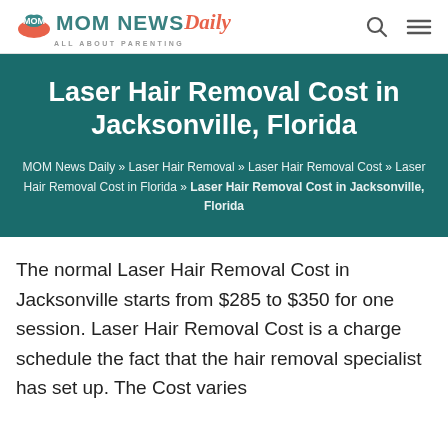MOM NEWS Daily — ALL ABOUT PARENTING
Laser Hair Removal Cost in Jacksonville, Florida
MOM News Daily » Laser Hair Removal » Laser Hair Removal Cost » Laser Hair Removal Cost in Florida » Laser Hair Removal Cost in Jacksonville, Florida
The normal Laser Hair Removal Cost in Jacksonville starts from $285 to $350 for one session. Laser Hair Removal Cost is a charge schedule the fact that the hair removal specialist has set up. The Cost varies